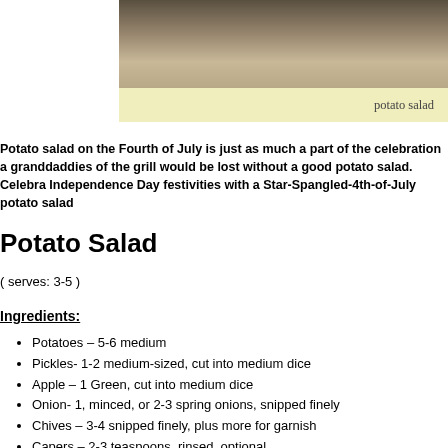[Figure (photo): Photo of potato salad dish, partially visible at top of page]
potato salad
Potato salad on the Fourth of July is just as much a part of the celebration as granddaddies of the grill would be lost without a good potato salad. Celebrate Independence Day festivities with a Star-Spangled-4th-of-July potato salad
Potato Salad
( serves: 3-5 )
Ingredients:
Potatoes – 5-6 medium
Pickles- 1-2 medium-sized, cut into medium dice
Apple – 1 Green, cut into medium dice
Onion- 1, minced, or 2-3 spring onions, snipped finely
Chives – 3-4 snipped finely, plus more for garnish
Capers – 2-3 teaspoons, rinsed, optional